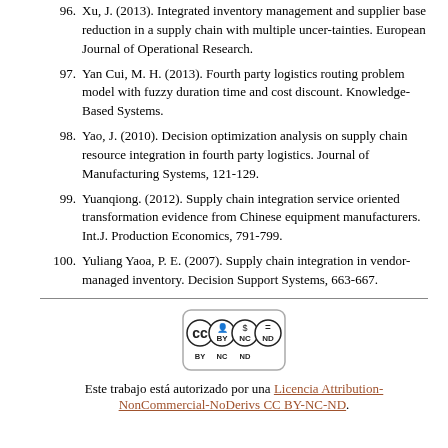96. Xu, J. (2013). Integrated inventory management and supplier base reduction in a supply chain with multiple uncer-tainties. European Journal of Operational Research.
97. Yan Cui, M. H. (2013). Fourth party logistics routing problem model with fuzzy duration time and cost discount. Knowledge-Based Systems.
98. Yao, J. (2010). Decision optimization analysis on supply chain resource integration in fourth party logistics. Journal of Manufacturing Systems, 121-129.
99. Yuanqiong. (2012). Supply chain integration service oriented transformation evidence from Chinese equipment manufacturers. Int.J. Production Economics, 791-799.
100. Yuliang Yaoa, P. E. (2007). Supply chain integration in vendor-managed inventory. Decision Support Systems, 663-667.
[Figure (logo): Creative Commons BY-NC-ND license logo]
Este trabajo está autorizado por una Licencia Attribution-NonCommercial-NoDerivs CC BY-NC-ND.